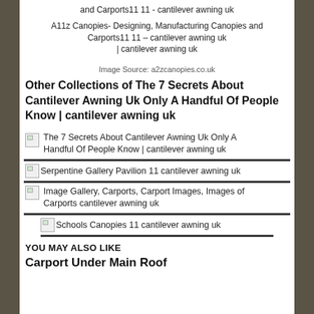and Carports11 11 - cantilever awning uk
A11z Canopies- Designing, Manufacturing Canopies and Carports11 11 – cantilever awning uk | cantilever awning uk
Image Source: a2zcanopies.co.uk
Other Collections of The 7 Secrets About Cantilever Awning Uk Only A Handful Of People Know | cantilever awning uk
The 7 Secrets About Cantilever Awning Uk Only A Handful Of People Know | cantilever awning uk
Serpentine Gallery Pavilion 11 cantilever awning uk
Image Gallery, Carports, Carport Images, Images of Carports cantilever awning uk
Schools Canopies 11 cantilever awning uk
YOU MAY ALSO LIKE
Carport Under Main Roof